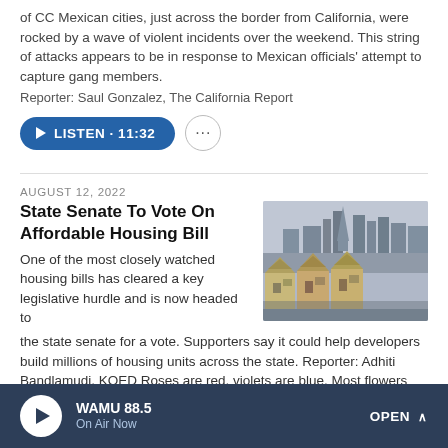of CC Mexican cities, just across the border from California, were rocked by a wave of violent incidents over the weekend. This string of attacks appears to be in response to Mexican officials' attempt to capture gang members.
Reporter: Saul Gonzalez, The California Report
LISTEN · 11:32
AUGUST 12, 2022
State Senate To Vote On Affordable Housing Bill
One of the most closely watched housing bills has cleared a key legislative hurdle and is now headed to the state senate for a vote. Supporters say it could help developers build millions of housing units across the state. Reporter: Adhiti Bandlamudi, KQED Roses are red, violets are blue. Most flowers smell nice, but not all of them do. And that's especially true for a rare tropical flower at the UC Santa Cruz arboretum. Reporter: Jerimiah Oetting, KAZU
[Figure (photo): Cityscape photo showing Victorian houses (Painted Ladies) in foreground with San Francisco skyline in background on a foggy day]
WAMU 88.5 | On Air Now | OPEN